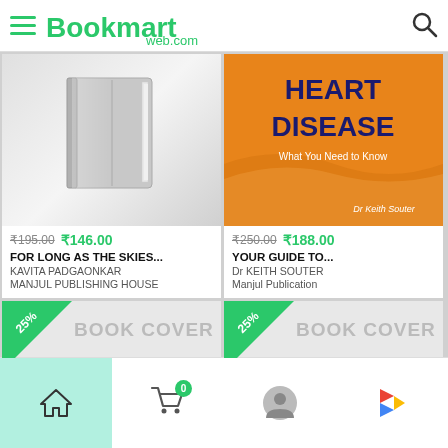[Figure (screenshot): Bookmartweb.com mobile app screenshot showing book listings]
₹195.00  ₹146.00
FOR LONG AS THE SKIES...
KAVITA PADGAONKAR
MANJUL PUBLISHING HOUSE
₹250.00  ₹188.00
YOUR GUIDE TO...
Dr KEITH SOUTER
Manjul Publication